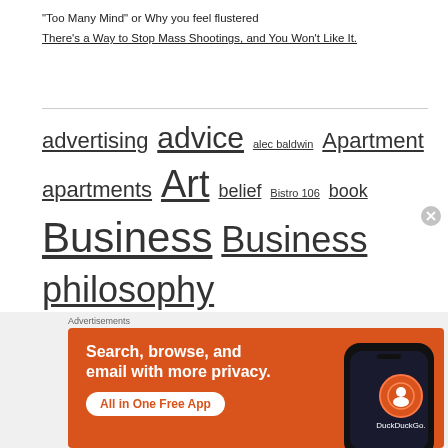"Too Many Mind" or Why you feel flustered
There's a Way to Stop Mass Shootings, and You Won't Like It.
advertising advice alec baldwin Apartment apartments Art belief Bistro 106 book Business Business philosophy caring cats College Apartments Collegiate Village Inn Communication company culture cool quote cool quotes creative culture CVI CVI-Orlando Dormitory easy execution fear focus Gainesville Florida goal
Advertisements
[Figure (infographic): DuckDuckGo advertisement banner with orange background showing 'Search, browse, and email with more privacy. All in One Free App' text alongside a smartphone image and DuckDuckGo logo]